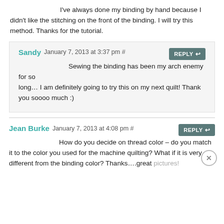I've always done my binding by hand because I didn't like the stitching on the front of the binding. I will try this method. Thanks for the tutorial.
Sandy January 7, 2013 at 3:37 pm #
Sewing the binding has been my arch enemy for so long… I am definitely going to try this on my next quilt! Thank you soooo much :)
Jean Burke January 7, 2013 at 4:08 pm #
How do you decide on thread color – do you match it to the color you used for the machine quilting? What if it is very different from the binding color? Thanks….great pictures!